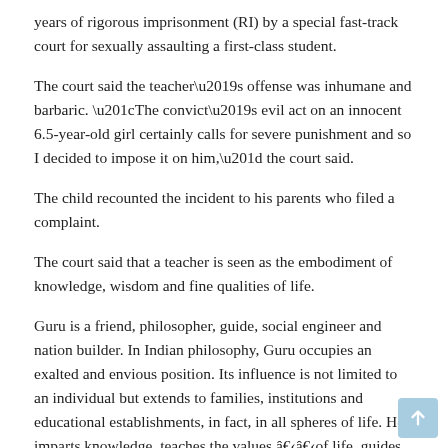years of rigorous imprisonment (RI) by a special fast-track court for sexually assaulting a first-class student.
The court said the teacher’s offense was inhumane and barbaric. “The convict’s evil act on an innocent 6.5-year-old girl certainly calls for severe punishment and so I decided to impose it on him,” the court said.
The child recounted the incident to his parents who filed a complaint.
The court said that a teacher is seen as the embodiment of knowledge, wisdom and fine qualities of life.
Guru is a friend, philosopher, guide, social engineer and nation builder. In Indian philosophy, Guru occupies an exalted and envious position. Its influence is not limited to an individual but extends to families, institutions and educational establishments, in fact, in all spheres of life. He imparts knowledge, teaches the values â€‹â€‹of life, guides and builds